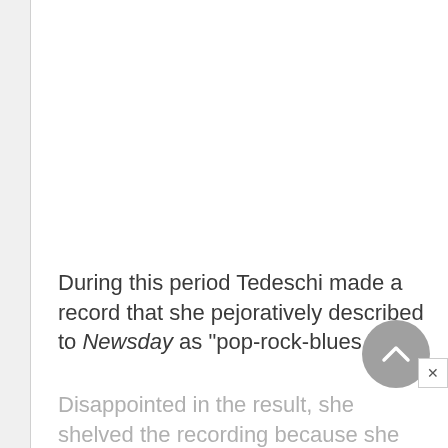During this period Tedeschi made a record that she pejoratively described to Newsday as "pop-rock-blues."
Disappointed in the result, she shelved the recording because she couldn't